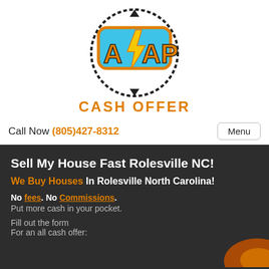[Figure (logo): ASAP Cash Offer logo with lightning bolt, circular arrows, and orange/blue color scheme]
CASH OFFER
Call Now (805)427-8312  Menu
Sell My House Fast Rolesville NC!
We Buy Houses In Rolesville North Carolina!
No fees. No Commissions. Put more cash in your pocket.
Fill out the form For an all cash offer: